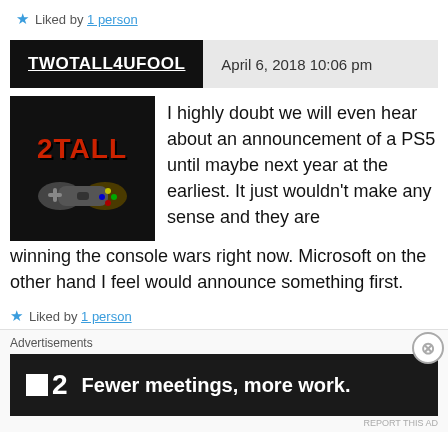★ Liked by 1 person
TWOTALL4UFOOL   April 6, 2018 10:06 pm
[Figure (logo): Avatar image with '2TALL' text and game controller graphic on black background]
I highly doubt we will even hear about an announcement of a PS5 until maybe next year at the earliest. It just wouldn't make any sense and they are winning the console wars right now. Microsoft on the other hand I feel would announce something first.
★ Liked by 1 person
Advertisements
[Figure (infographic): Dark advertisement banner with logo '▪2' and text 'Fewer meetings, more work.']